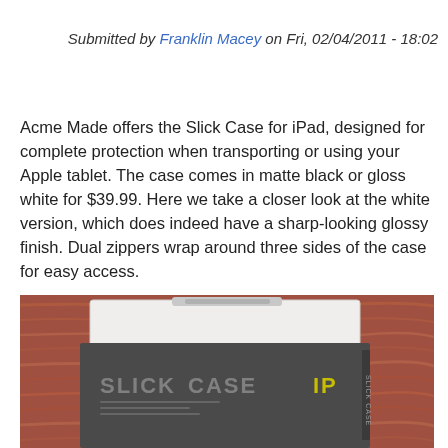Submitted by Franklin Macey on Fri, 02/04/2011 - 18:02
Acme Made offers the Slick Case for iPad, designed for complete protection when transporting or using your Apple tablet. The case comes in matte black or gloss white for $39.99. Here we take a closer look at the white version, which does indeed have a sharp-looking glossy finish. Dual zippers wrap around three sides of the case for easy access.
[Figure (photo): Photo of Acme Made Slick Case for iPad (white version) sitting on a wooden surface, showing the packaging box with 'SLICK CASE IP' text in grey and yellow lettering]